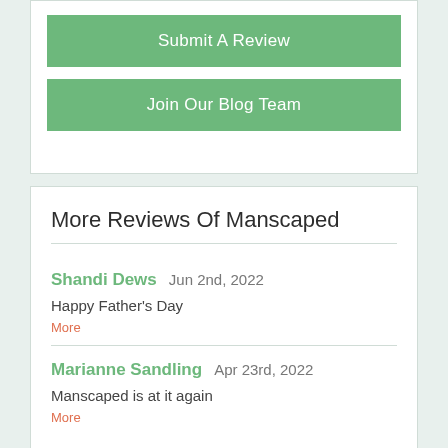Submit A Review
Join Our Blog Team
More Reviews Of Manscaped
Shandi Dews  Jun 2nd, 2022
Happy Father's Day
More
Marianne Sandling  Apr 23rd, 2022
Manscaped is at it again
More